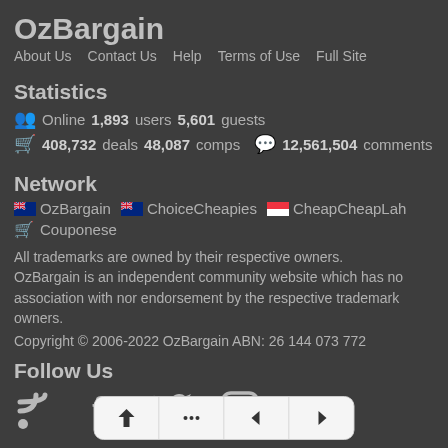OzBargain
About Us   Contact Us   Help   Terms of Use   Full Site
Statistics
Online 1,893 users 5,601 guests
408,732 deals 48,087 comps   12,561,504 comments
Network
🇦🇺 OzBargain   🇦🇺 ChoiceCheapies   🇸🇬 CheapCheapLah
🛒 Couponese
All trademarks are owned by their respective owners. OzBargain is an independent community website which has no association with nor endorsement by the respective trademark owners.
Copyright © 2006-2022 OzBargain ABN: 26 144 073 772
Follow Us
[Figure (infographic): Social media icons: RSS, Facebook, Twitter, Instagram]